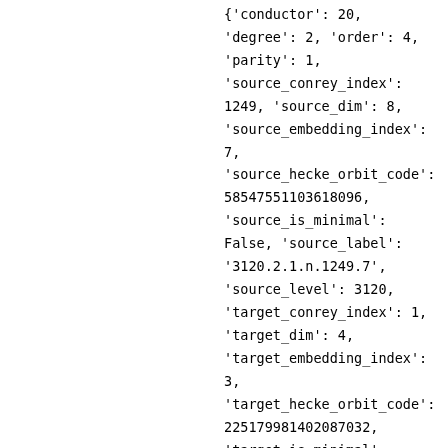{'conductor': 20, 'degree': 2, 'order': 4, 'parity': 1, 'source_conrey_index': 1249, 'source_dim': 8, 'source_embedding_index': 7, 'source_hecke_orbit_code': 58547551103618096, 'source_is_minimal': False, 'source_label': '3120.2.1.n.1249.7', 'source_level': 3120, 'target_conrey_index': 1, 'target_dim': 4, 'target_embedding_index': 3, 'target_hecke_orbit_code': 225179981402087032, 'target_is_minimal':